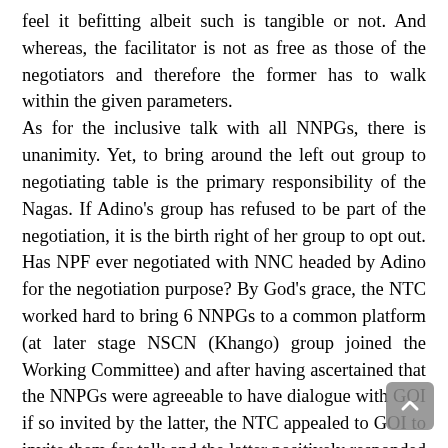feel it befitting albeit such is tangible or not. And whereas, the facilitator is not as free as those of the negotiators and therefore the former has to walk within the given parameters. As for the inclusive talk with all NNPGs, there is unanimity. Yet, to bring around the left out group to negotiating table is the primary responsibility of the Nagas. If Adino's group has refused to be part of the negotiation, it is the birth right of her group to opt out. Has NPF ever negotiated with NNC headed by Adino for the negotiation purpose? By God's grace, the NTC worked hard to bring 6 NNPGs to a common platform (at later stage NSCN (Khango) group joined the Working Committee) and after having ascertained that the NNPGs were agreeable to have dialogue with GOI if so invited by the latter, the NTC appealed to GOI to invite them for talk and the latter positively responded which is now resulting into a possible solution. Without ascertaining the ground realities, and yet asking the GOI